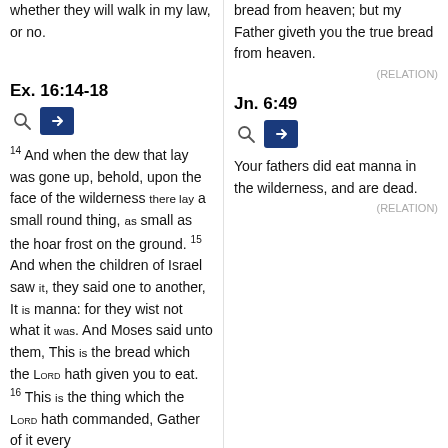whether they will walk in my law, or no.
bread from heaven; but my Father giveth you the true bread from heaven.
(RELATION)
Ex. 16:14-18
Jn. 6:49
14 And when the dew that lay was gone up, behold, upon the face of the wilderness there lay a small round thing, as small as the hoar frost on the ground. 15 And when the children of Israel saw it, they said one to another, It is manna: for they wist not what it was. And Moses said unto them, This is the bread which the LORD hath given you to eat. 16 This is the thing which the LORD hath commanded, Gather of it every
Your fathers did eat manna in the wilderness, and are dead.
(RELATION)